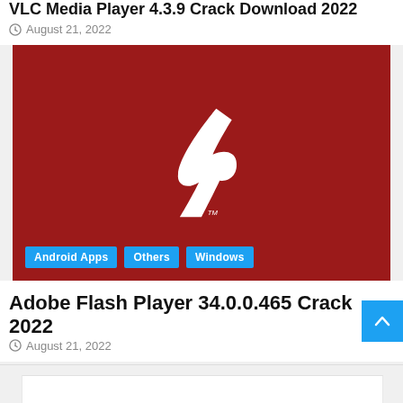VLC Media Player 4.3.9 Crack Download 2022
August 21, 2022
[Figure (logo): Adobe Flash Player logo — white stylized F on dark red background, with category tags Android Apps, Others, Windows overlaid at bottom left]
Adobe Flash Player 34.0.0.465 Crack 2022
August 21, 2022